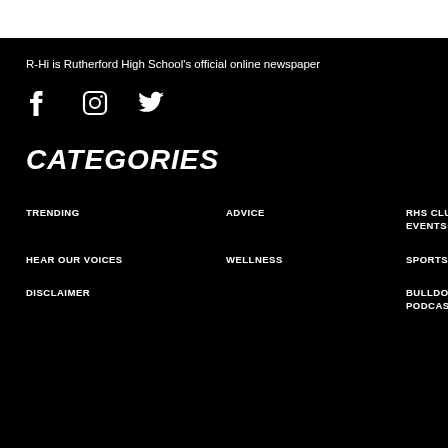R-Hi is Rutherford High School's official online newspaper
[Figure (illustration): Social media icons: Facebook, Instagram, Twitter]
CATEGORIES
TRENDING
ADVICE
RHS CLUBS AND EVENTS
HEAR OUR VOICES
WELLNESS
SPORTS
DISCLAIMER
BULLDOG BULLETIN PODCAST